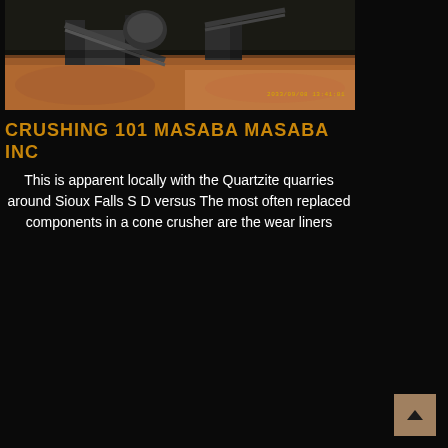[Figure (photo): Aerial or elevated view of a quarry crushing facility with heavy industrial equipment, conveyors, and reddish-brown earth/rock terrain. Timestamp visible in lower right of photo: 2033/09/08 13:41.]
CRUSHING 101 MASABA MASABA INC
This is apparent locally with the Quartzite quarries around Sioux Falls S D versus The most often replaced components in a cone crusher are the wear liners